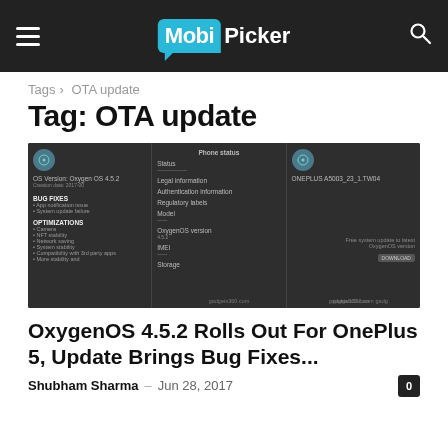MobiPicker
Tags › OTA update
Tag: OTA update
[Figure (screenshot): Screenshot of OxygenOS 4.5.2 update changelog showing bug fixes and optimizations on a OnePlus 5 device, from gadgets360.com]
OxygenOS 4.5.2 Rolls Out For OnePlus 5, Update Brings Bug Fixes...
Shubham Sharma – Jun 28, 2017